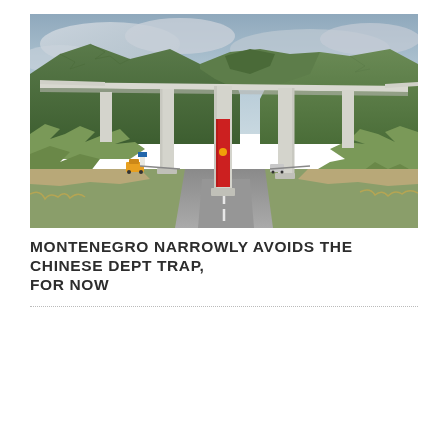[Figure (photo): A highway road leading toward a tall concrete viaduct/bridge with multiple pillars stretching across mountainous terrain. Green forested mountains in background under cloudy sky. A red banner hangs from the central bridge pillar. Road with lane markings visible in foreground with dry scrubby vegetation on the sides.]
MONTENEGRO NARROWLY AVOIDS THE CHINESE DEPT TRAP, FOR NOW